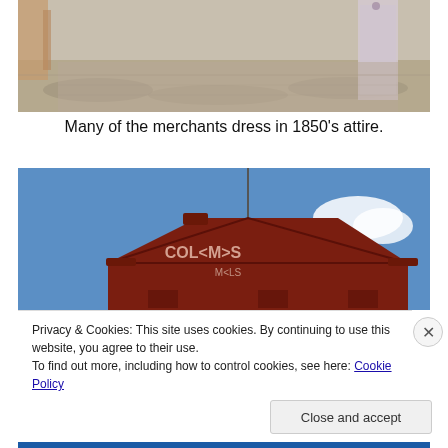[Figure (photo): Photo of a person in period attire walking along a shaded brick or stone walkway, seen from behind, with wooden structures visible in the background.]
Many of the merchants dress in 1850's attire.
[Figure (photo): Photo of a dark red wooden building facade with a triangular gable roof and a flagpole; signage on the gable reads 'COLOMA' or similar; blue sky with a few clouds in background.]
Privacy & Cookies: This site uses cookies. By continuing to use this website, you agree to their use.
To find out more, including how to control cookies, see here: Cookie Policy